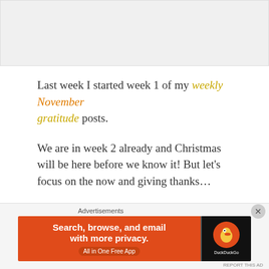[Figure (photo): Gray placeholder image area at the top of the page]
Last week I started week 1 of my weekly November gratitude posts.
We are in week 2 already and Christmas will be here before we know it! But let’s focus on the now and giving thanks…
[Figure (infographic): DuckDuckGo advertisement banner: Search, browse, and email with more privacy. All in One Free App. DuckDuckGo logo on right with orange duck circle on dark background.]